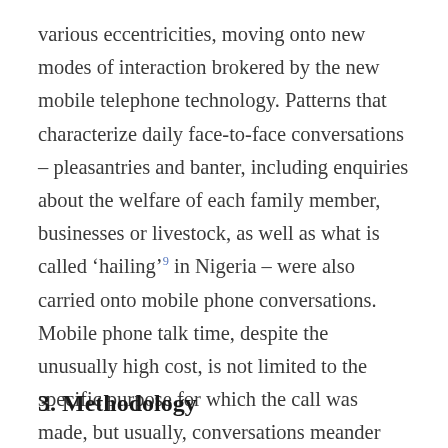various eccentricities, moving onto new modes of interaction brokered by the new mobile telephone technology. Patterns that characterize daily face-to-face conversations – pleasantries and banter, including enquiries about the welfare of each family member, businesses or livestock, as well as what is called 'hailing'⁹ in Nigeria – were also carried onto mobile phone conversations. Mobile phone talk time, despite the unusually high cost, is not limited to the specific purpose for which the call was made, but usually, conversations meander through a mesh of banters and 'hailings,' typical in face-to-face encounters.
3. Methodology